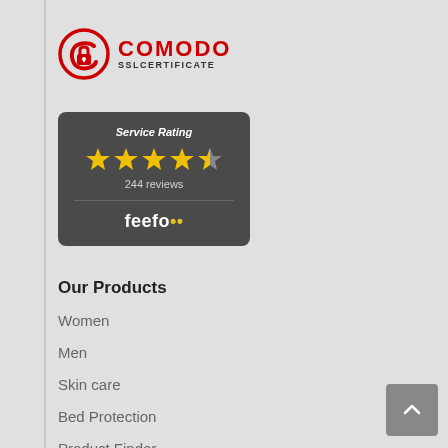[Figure (logo): Comodo SSL Certificate logo with red padlock icon and COMODO SSLCERTIFICATE text]
[Figure (infographic): Feefo service rating widget showing 4.5 stars and 244 reviews on dark grey background]
Our Products
Women
Men
Skin care
Bed Protection
Product Finder